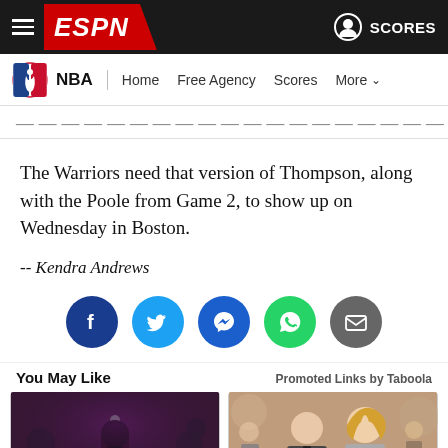ESPN NBA Navigation
The Warriors need that version of Thompson, along with the Poole from Game 2, to show up on Wednesday in Boston.
-- Kendra Andrews
[Figure (infographic): Social share icons: Facebook, Twitter, Messenger, WhatsApp, Email]
You May Like   Promoted Links by Taboola
[Figure (photo): Two thumbnail images from Taboola promoted content: left shows a woman in black at a podium, right shows a man in suit with a woman at an event]